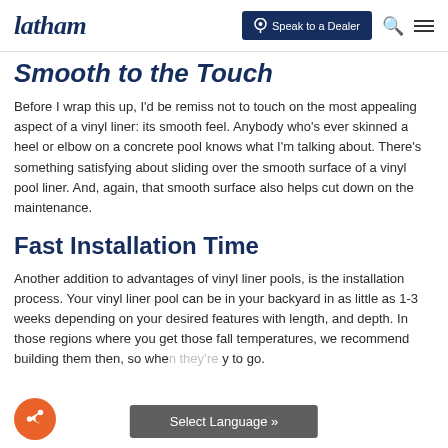latham | Speak to a Dealer
Smooth to the Touch
Before I wrap this up, I'd be remiss not to touch on the most appealing aspect of a vinyl liner: its smooth feel. Anybody who's ever skinned a heel or elbow on a concrete pool knows what I'm talking about. There's something satisfying about sliding over the smooth surface of a vinyl pool liner. And, again, that smooth surface also helps cut down on the maintenance.
Fast Installation Time
Another addition to advantages of vinyl liner pools, is the installation process. Your vinyl liner pool can be in your backyard in as little as 1-3 weeks depending on your desired features with length, and depth. In those regions where you get those fall temperatures, we recommend building them then, so whe... y to go.